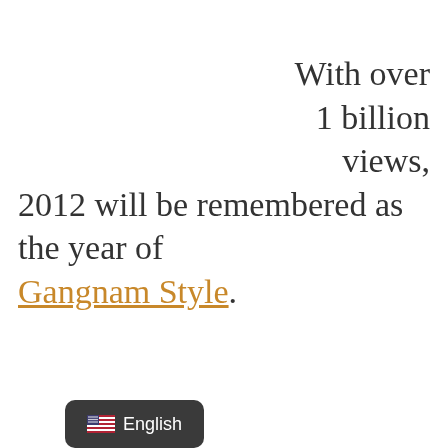With over 1 billion views, 2012 will be remembered as the year of Gangnam Style.
[Figure (other): UI language selector button showing a US flag emoji and the word 'English' on a dark rounded rectangle background]